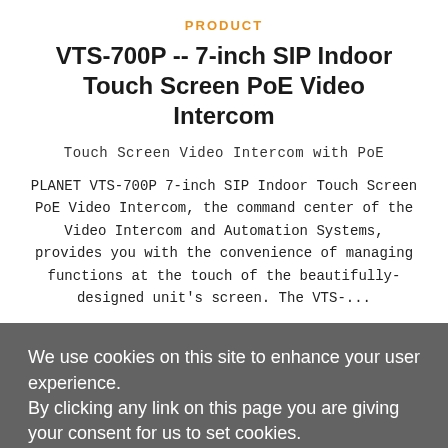PRODUCT
VTS-700P -- 7-inch SIP Indoor Touch Screen PoE Video Intercom
Touch Screen Video Intercom with PoE
PLANET VTS-700P 7-inch SIP Indoor Touch Screen PoE Video Intercom, the command center of the Video Intercom and Automation Systems, provides you with the convenience of managing functions at the touch of the beautifully-designed unit's screen. The VTS-...
We use cookies on this site to enhance your user experience.
By clicking any link on this page you are giving your consent for us to set cookies.
I AGREE
MORE INFO